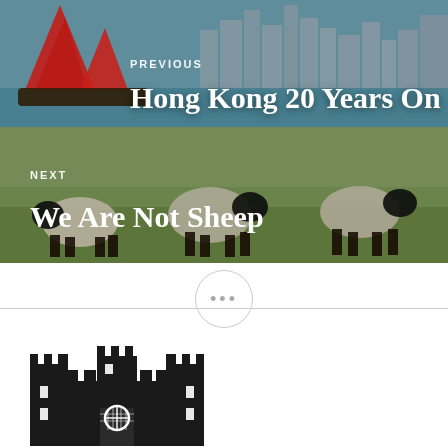[Figure (photo): Navigation block showing previous article: Hong Kong harbor with red sail junk boat and city skyline in the background. White text overlay reads PREVIOUS and Hong Kong 20 Years On.]
[Figure (photo): Navigation block showing next article: Flock of black-faced Suffolk sheep standing in a green field. White text overlay reads NEXT and We Are Not Sheep.]
[Figure (other): Circular button with three dots (ellipsis) indicating more options or sharing.]
[Figure (logo): Black castle/fortress logo icon — a stylized medieval castle with towers, battlements, and an arched gate with portcullis.]